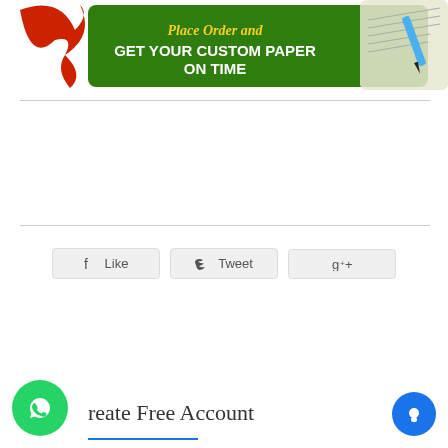[Figure (infographic): Green banner with red arrow logo and pen graphic. Text: 'Place Order and GET YOUR CUSTOM PAPER ON TIME']
[Figure (infographic): Social sharing buttons: Facebook Like, Twitter Tweet, Google+1]
reate Free Account
[Figure (infographic): WhatsApp circular green button icon bottom left]
[Figure (infographic): Blue circular chat button bottom right]